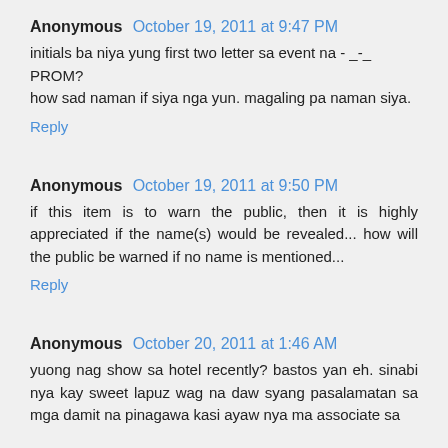Anonymous October 19, 2011 at 9:47 PM
initials ba niya yung first two letter sa event na - _-_ PROM?
how sad naman if siya nga yun. magaling pa naman siya.
Reply
Anonymous October 19, 2011 at 9:50 PM
if this item is to warn the public, then it is highly appreciated if the name(s) would be revealed... how will the public be warned if no name is mentioned...
Reply
Anonymous October 20, 2011 at 1:46 AM
yuong nag show sa hotel recently? bastos yan eh. sinabi nya kay sweet lapuz wag na daw syang pasalamatan sa mga damit na pinagawa kasi ayaw nya ma associate sa ...